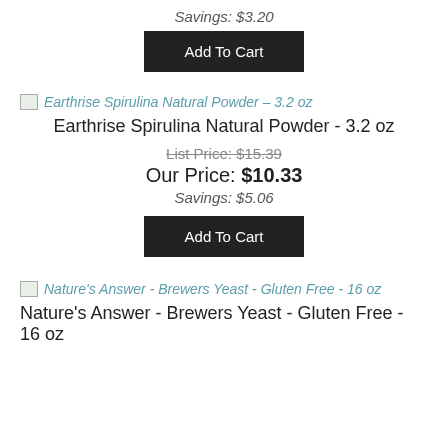Savings: $3.20
[Figure (other): Add To Cart button (black rectangle)]
[Figure (other): Small broken image icon placeholder for Earthrise Spirulina Natural Powder - 3.2 oz]
Earthrise Spirulina Natural Powder - 3.2 oz
Earthrise Spirulina Natural Powder - 3.2 oz
List Price: $15.39
Our Price: $10.33
Savings: $5.06
[Figure (other): Add To Cart button (black rectangle)]
[Figure (other): Small broken image icon placeholder for Nature's Answer - Brewers Yeast - Gluten Free - 16 oz]
Nature's Answer - Brewers Yeast - Gluten Free - 16 oz
Nature's Answer - Brewers Yeast - Gluten Free - 16 oz